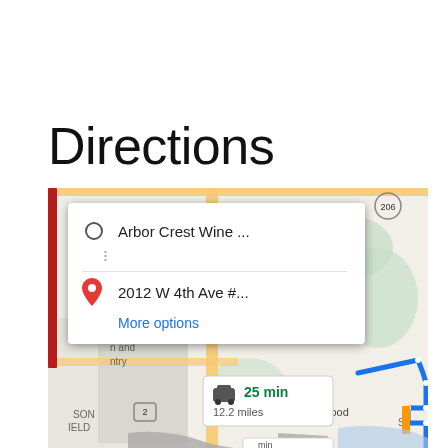Directions
[Figure (map): Google Maps screenshot showing directions from Arbor Crest Wine ... to 2012 W 4th Ave #... with a route overlay showing 25 min, 12.2 miles. The map shows the Spokane, WA area including Millwood. A directions card popup shows the origin (Arbor Crest Wine ...) and destination (2012 W 4th Ave #...) with a 'More options' link. A red vertical bar appears on the left side of the map. A travel info badge shows a car icon, 25 min, 12.2 miles.]